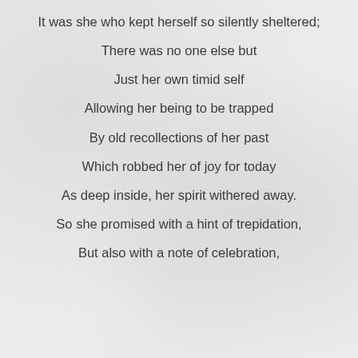It was she who kept herself so silently sheltered;
There was no one else but
Just her own timid self
Allowing her being to be trapped
By old recollections of her past
Which robbed her of joy for today
As deep inside, her spirit withered away.
So she promised with a hint of trepidation,
But also with a note of celebration,